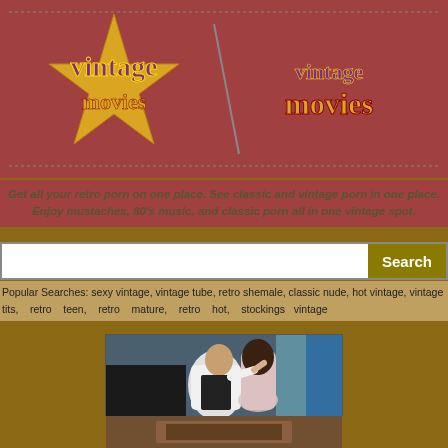[Figure (logo): Vintage Movies logo with yellow star burst and purple/gold stylized text on dark red background, repeated twice]
Get all your retro porn on one place. See classic and vintage porn in one place. Enjoy mustaches, 80's music, and classic porn all in one vintage spot.
Search
Popular Searches: sexy vintage, vintage tube, retro shemale, classic nude, hot vintage, vintage tits, retro teen, retro mature, retro hot, stockings vintage
[Figure (photo): Vintage 1970s film still showing a man and woman in period clothing]
Vintage 1970s Teen XXX - Wanton Widow
Added 3 years ago   19:20
[Figure (photo): Partial thumbnail of another vintage video at bottom of page]